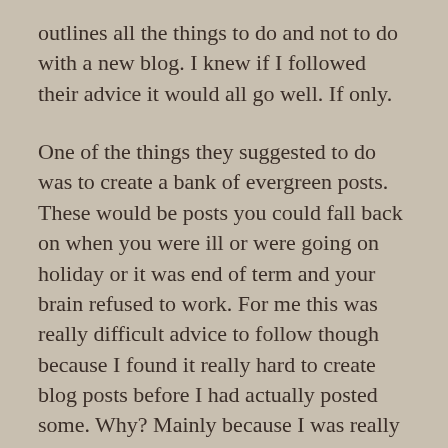outlines all the things to do and not to do with a new blog. I knew if I followed their advice it would all go well. If only.
One of the things they suggested to do was to create a bank of evergreen posts. These would be posts you could fall back on when you were ill or were going on holiday or it was end of term and your brain refused to work. For me this was really difficult advice to follow though because I found it really hard to create blog posts before I had actually posted some. Why? Mainly because I was really unsure about who I would be on here and what aspect of myself would come out. Again, you are supposed to plan ahead and create this persona, but I'm not